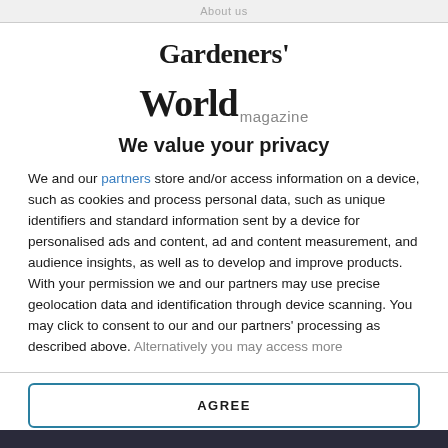About us
[Figure (logo): Gardeners' World magazine logo — large bold serif text showing Gardeners' World with 'magazine' in smaller grey sans-serif]
We value your privacy
We and our partners store and/or access information on a device, such as cookies and process personal data, such as unique identifiers and standard information sent by a device for personalised ads and content, ad and content measurement, and audience insights, as well as to develop and improve products. With your permission we and our partners may use precise geolocation data and identification through device scanning. You may click to consent to our and our partners' processing as described above. Alternatively you may access more
AGREE
MORE OPTIONS